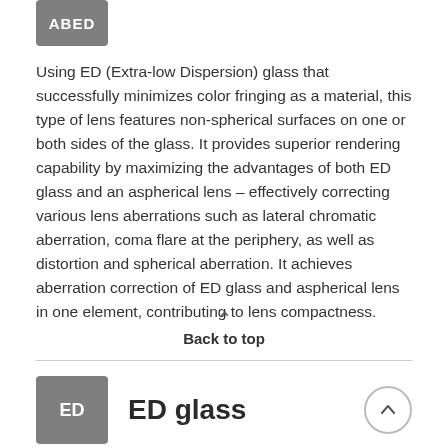[Figure (logo): Gray rounded rectangle icon with white text partially visible at top (ABED label cut off)]
Using ED (Extra-low Dispersion) glass that successfully minimizes color fringing as a material, this type of lens features non-spherical surfaces on one or both sides of the glass. It provides superior rendering capability by maximizing the advantages of both ED glass and an aspherical lens – effectively correcting various lens aberrations such as lateral chromatic aberration, coma flare at the periphery, as well as distortion and spherical aberration. It achieves aberration correction of ED glass and aspherical lens in one element, contributing to lens compactness.
Back to top
[Figure (logo): Gray rounded rectangle icon with white text 'ED']
ED glass